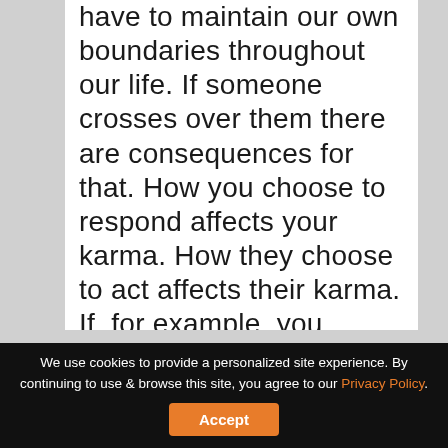have to maintain our own boundaries throughout our life. If someone crosses over them there are consequences for that. How you choose to respond affects your karma. How they choose to act affects their karma. If, for example, you
We use cookies to provide a personalized site experience. By continuing to use & browse this site, you agree to our Privacy Policy. Accept